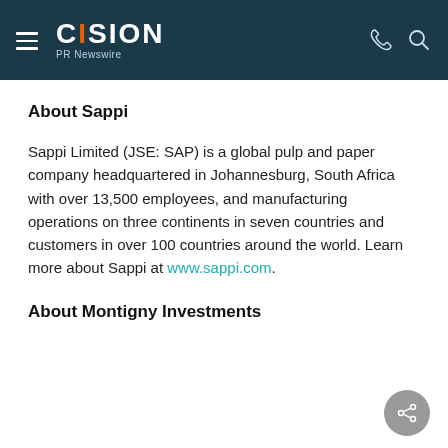CISION PR Newswire
About Sappi
Sappi Limited (JSE: SAP) is a global pulp and paper company headquartered in Johannesburg, South Africa with over 13,500 employees, and manufacturing operations on three continents in seven countries and customers in over 100 countries around the world. Learn more about Sappi at www.sappi.com.
About Montigny Investments